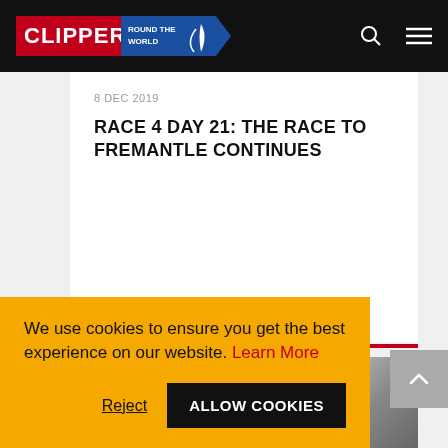Clipper Round The World
8 DEC 2019
RACE 4 DAY 21: THE RACE TO FREMANTLE CONTINUES
[Figure (photo): Sailing boat/sail detail with blue and grey color tones, appears to be a close-up of a sail with sponsor branding]
We use cookies to ensure you get the best experience on our website. Learn More
Reject
ALLOW COOKIES